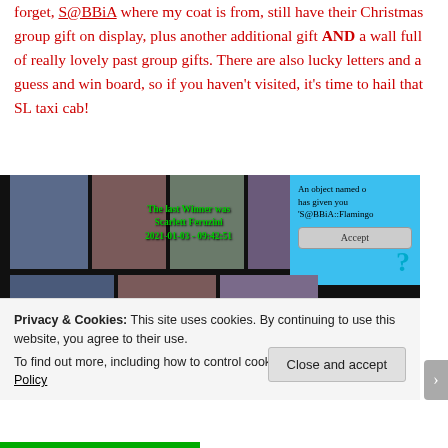forget, S@BBiA where my coat is from, still have their Christmas group gift on display, plus another additional gift AND a wall full of really lovely past group gifts. There are also lucky letters and a guess and win board, so if you haven't visited, it's time to hail that SL taxi cab!
[Figure (screenshot): Screenshot of a Second Life virtual store showing fashion items (dresses) displayed on mannequins, with a 'guess and win' board showing the last winner was Scarlett Feruzini on 2021-01-03 09:42:51, and a blue popup notification from an object named offering 'S@BBiA::Flamingo' with an Accept button.]
Privacy & Cookies: This site uses cookies. By continuing to use this website, you agree to their use.
To find out more, including how to control cookies, see here: Cookie Policy
Close and accept